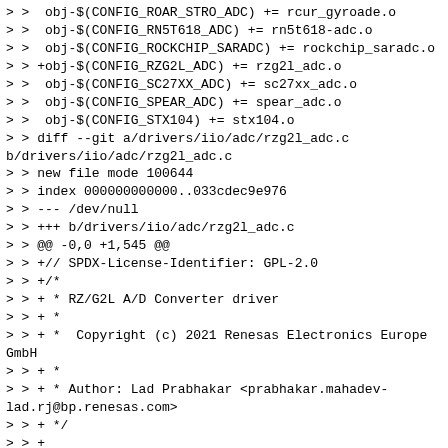> >  obj-$(CONFIG_ROAR_STRO_ADC) += rcur_gyroade.o
> >  obj-$(CONFIG_RN5T618_ADC) += rn5t618-adc.o
> >  obj-$(CONFIG_ROCKCHIP_SARADC) += rockchip_saradc.o
> > +obj-$(CONFIG_RZG2L_ADC) += rzg2l_adc.o
> >  obj-$(CONFIG_SC27XX_ADC) += sc27xx_adc.o
> >  obj-$(CONFIG_SPEAR_ADC) += spear_adc.o
> >  obj-$(CONFIG_STX104) += stx104.o
> > diff --git a/drivers/iio/adc/rzg2l_adc.c b/drivers/iio/adc/rzg2l_adc.c
> > new file mode 100644
> > index 000000000000..033cdec9e976
> > --- /dev/null
> > +++ b/drivers/iio/adc/rzg2l_adc.c
> > @@ -0,0 +1,545 @@
> > +// SPDX-License-Identifier: GPL-2.0
> > +/*
> > + * RZ/G2L A/D Converter driver
> > + *
> > + *  Copyright (c) 2021 Renesas Electronics Europe GmbH
> > + *
> > + * Author: Lad Prabhakar <prabhakar.mahadev-lad.rj@bp.renesas.com>
> > + */
> > +
> > +#include <linux/clk.h>
> > +#include <linux/completion.h>
> > +#include <linux/delay.h>
> > +#include <linux/iio/iio.h>
> > +#include <linux/interrupt.h>
> > +#include <linux/io.h>